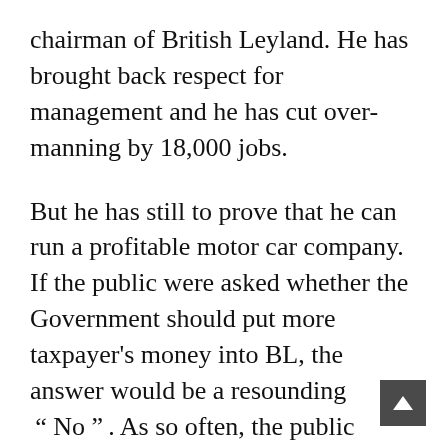chairman of British Leyland. He has brought back respect for management and he has cut over-manning by 18,000 jobs.
But he has still to prove that he can run a profitable motor car company. If the public were asked whether the Government should put more taxpayer's money into BL, the answer would be a resounding “ No ” . As so often, the public would be right. Yet, we are told, “without more money BL is dead”.
This is simply not true. Since it was rescued Leyland has had hundreds of